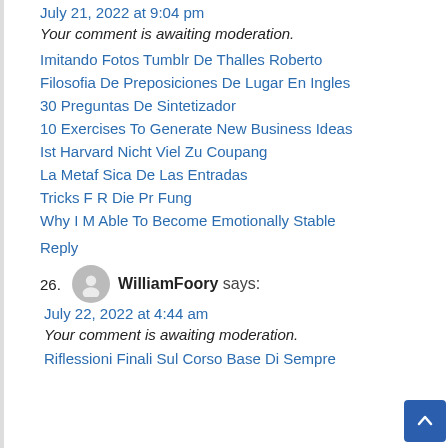July 21, 2022 at 9:04 pm
Your comment is awaiting moderation.
Imitando Fotos Tumblr De Thalles Roberto
Filosofia De Preposiciones De Lugar En Ingles
30 Preguntas De Sintetizador
10 Exercises To Generate New Business Ideas
Ist Harvard Nicht Viel Zu Coupang
La Metaf Sica De Las Entradas
Tricks F R Die Pr Fung
Why I M Able To Become Emotionally Stable
Reply
26. WilliamFoory says:
July 22, 2022 at 4:44 am
Your comment is awaiting moderation.
Riflessioni Finali Sul Corso Base Di Sempre